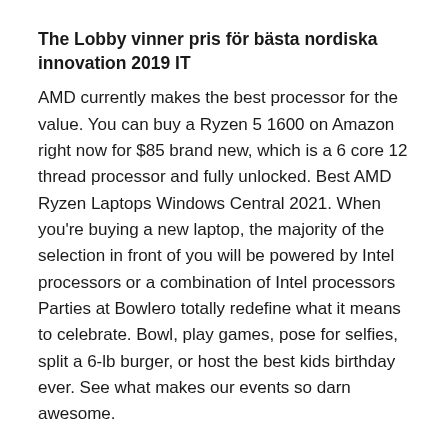The Lobby vinner pris för bästa nordiska innovation 2019 IT
AMD currently makes the best processor for the value. You can buy a Ryzen 5 1600 on Amazon right now for $85 brand new, which is a 6 core 12 thread processor and fully unlocked. Best AMD Ryzen Laptops Windows Central 2021. When you're buying a new laptop, the majority of the selection in front of you will be powered by Intel processors or a combination of Intel processors Parties at Bowlero totally redefine what it means to celebrate. Bowl, play games, pose for selfies, split a 6-lb burger, or host the best kids birthday ever. See what makes our events so darn awesome.